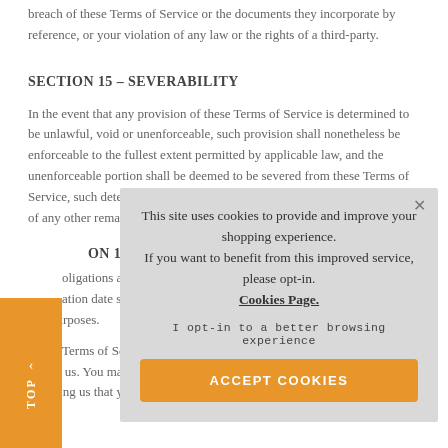breach of these Terms of Service or the documents they incorporate by reference, or your violation of any law or the rights of a third-party.
SECTION 15 – SEVERABILITY
In the event that any provision of these Terms of Service is determined to be unlawful, void or unenforceable, such provision shall nonetheless be enforceable to the fullest extent permitted by applicable law, and the unenforceable portion shall be deemed to be severed from these Terms of Service, such determin[ation shall not affect the validity and enforceability] of any other remaining[provisions].
SECTION 16 – TERMI[NATION]
[All ob]ligations and lia[bilities of the parties incurred prior to the termin]ation date shall [survive the termination of this agreement for all] purposes.
These Terms of Servic[e are effective unless and until terminated by either] you or us. You may ter[minate these Terms of Service at any time by] notifying us that you no longer wish to use our Services, or when you
[Figure (other): Cookie consent popup overlay on a gray background with close button (×), text about site cookies and shopping experience improvement, a 'Cookies Page.' link, an opt-in label in monospace, and an orange 'ACCEPT COOKIES' button.]